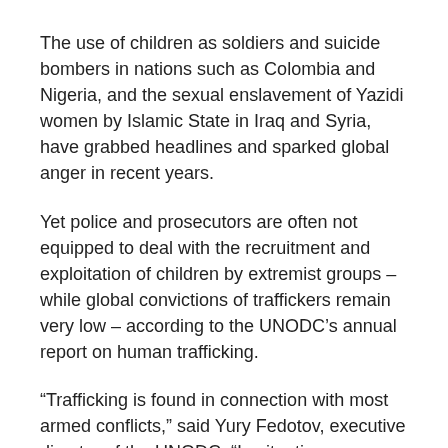The use of children as soldiers and suicide bombers in nations such as Colombia and Nigeria, and the sexual enslavement of Yazidi women by Islamic State in Iraq and Syria, have grabbed headlines and sparked global anger in recent years.
Yet police and prosecutors are often not equipped to deal with the recruitment and exploitation of children by extremist groups – while global convictions of traffickers remain very low – according to the UNODC's annual report on human trafficking.
“Trafficking is found in connection with most armed conflicts,” said Yury Fedotov, executive director of the UNODC. “In situations characterized by violence, brutality and coercion, traffickers can operate with even greater impunity.”